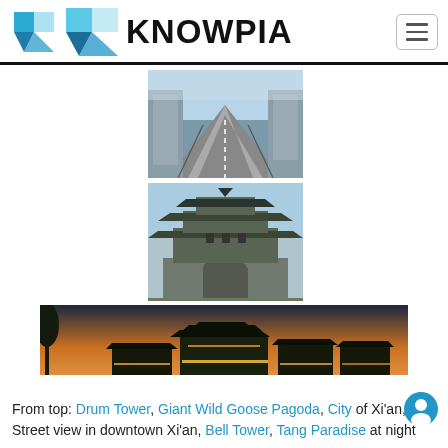KNOWPIA
[Figure (photo): Three photos of Xi'an, China: top - street view looking down a wide boulevard from city wall; middle - Drum Tower/Bell Tower pagoda building with traditional Chinese architecture; bottom - wide panoramic night shot of Tang Paradise lake and illuminated traditional buildings at dusk.]
From top: Drum Tower, Giant Wild Goose Pagoda, City of Xi'an, Street view in downtown Xi'an, Bell Tower, Tang Paradise at night